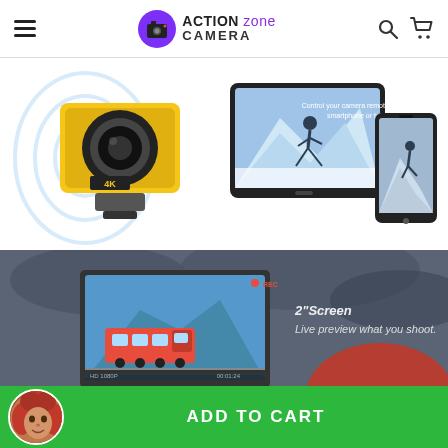ACTION zone CAMERA — navigation header with hamburger menu, logo, search and cart icons
[Figure (photo): Yellow 4K action camera in waterproof case next to a tablet and smartphone showing skiing photo, with WiFi signal rings in background, on white background]
[Figure (photo): Dark grey stormy sky background with a camera screen showing a red train on mountain track, text overlay: 2" Screen — Live preview what you shoot]
TOP
[Figure (photo): Round avatar of a woman with red curly hair in the add to cart bar]
ADD TO CART